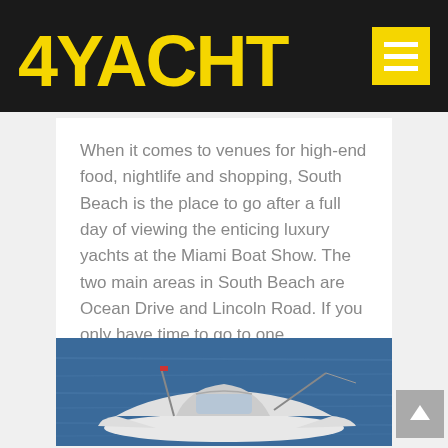4YACHT
When it comes to venues for high-end food, nightlife and shopping, South Beach is the place to go after a full day of viewing the enticing luxury yachts at the Miami Boat Show. The two main areas in South Beach are Ocean Drive and Lincoln Road. If you only have time to go to one...
Details ▶
[Figure (photo): A white motorboat on blue ocean water, viewed from above/side angle]